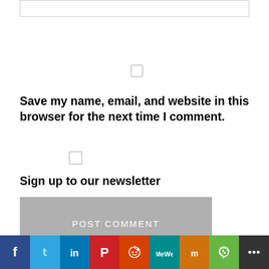[Figure (other): Text input field (form element) at the top of the page]
[Figure (other): Checkbox (unchecked) for save name/email option]
Save my name, email, and website in this browser for the next time I comment.
[Figure (other): Checkbox (unchecked) for sign up to newsletter option]
Sign up to our newsletter
[Figure (other): POST COMMENT button (gray background, white uppercase text)]
[Figure (other): Social sharing bar with icons: Facebook, Twitter, LinkedIn, Pinterest, Reddit, MeWe, Mix, WhatsApp, More]